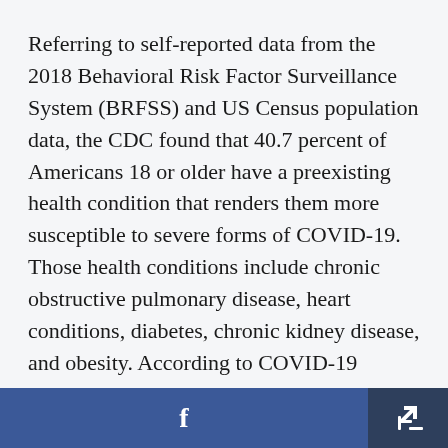Referring to self-reported data from the 2018 Behavioral Risk Factor Surveillance System (BRFSS) and US Census population data, the CDC found that 40.7 percent of Americans 18 or older have a preexisting health condition that renders them more susceptible to severe forms of COVID-19. Those health conditions include chronic obstructive pulmonary disease, heart conditions, diabetes, chronic kidney disease, and obesity. According to COVID-19 patient data cited in the study, people with these conditions are six times
f [share]